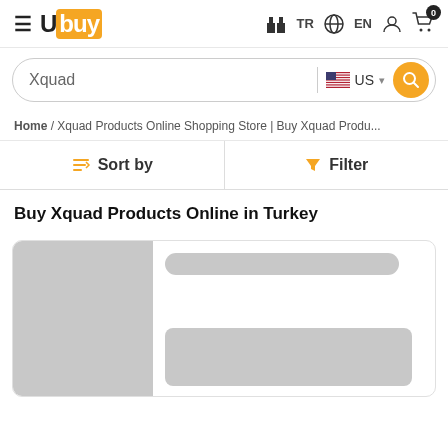Ubuy — TR EN | Cart: 0
Xquad  US
Home / Xquad Products Online Shopping Store | Buy Xquad Produ...
Sort by  Filter
Buy Xquad Products Online in Turkey
[Figure (screenshot): Product card loading placeholder with grey image area on left and grey title bar with price placeholder on right]